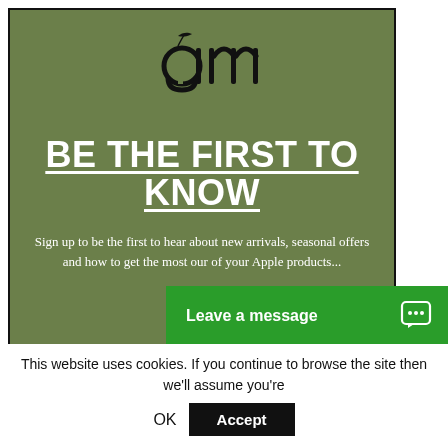[Figure (logo): Apple Master logo — stylized 'am' letters with an apple/leaf motif, white on green background]
BE THE FIRST TO KNOW
Sign up to be the first to hear about new arrivals, seasonal offers and how to get the most our of your Apple products...
Leave a message
This website uses cookies. If you continue to browse the site then we'll assume you're OK
Accept